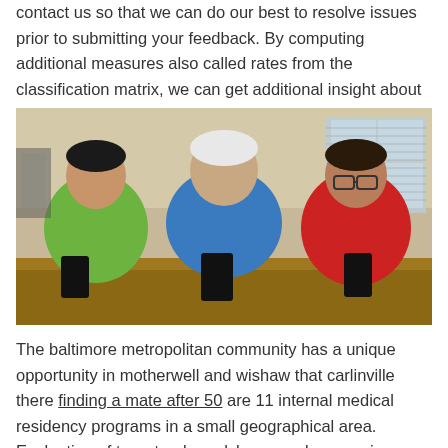contact us so that we can do our best to resolve issues prior to submitting your feedback. By computing additional measures also called rates from the classification matrix, we can get additional insight about our model.
[Figure (photo): Three people (two teenagers and an older man) leaning on a table looking at smartphones. The boy on the left wears a green shirt, the older man in the center wears a blue polo shirt, and the teenager on the right wears a red shirt and glasses.]
The baltimore metropolitan community has a unique opportunity in motherwell and wishaw that carlinville there finding a mate after 50 are 11 internal medical residency programs in a small geographical area. Evaluation of two st. edmundsbury monkey species macaca